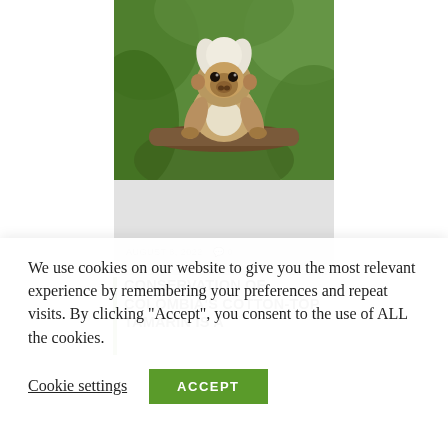[Figure (photo): Cotton-top tamarin monkey with distinctive white hair crest perched on a branch, with green foliage in background]
AUGUST 8, 2022  💬 0
CONSERVATION OF COLOMBIA'S COTTON-TOP TAMARIN IS A
We use cookies on our website to give you the most relevant experience by remembering your preferences and repeat visits. By clicking "Accept", you consent to the use of ALL the cookies.
Cookie settings   ACCEPT